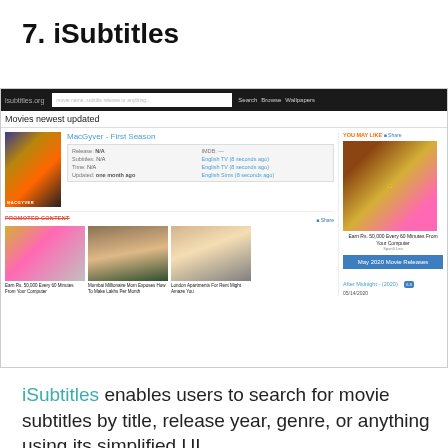7. iSubtitles
[Figure (screenshot): Screenshot of iSubtitles website (isubtitles.org) showing navigation bar, 'Movies newest updated' section with MacGyver First Season listing, promoted content with three ad images, and a right sidebar with 'You May Like' section and movie releases.]
iSubtitles enables users to search for movie subtitles by title, release year, genre, or anything using its simplified UI